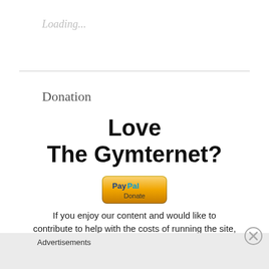Loading...
Donation
Love
The Gymternet?
[Figure (logo): PayPal Donate button with orange/gold gradient background and PayPal logo]
If you enjoy our content and would like to contribute to help with the costs of running the site,
Advertisements